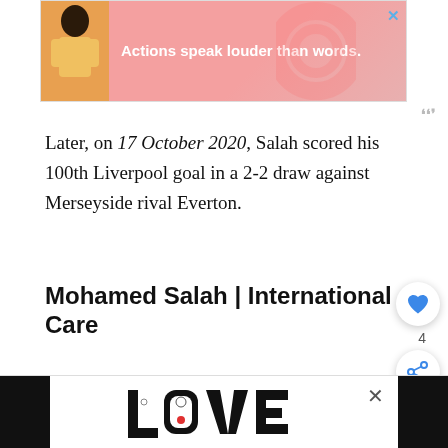[Figure (photo): Advertisement banner at top with pink/salmon background. Shows a person in a yellow jacket on the left and bold white text reading 'Actions speak louder than words.' A blue X close button is in the top right corner.]
Later, on 17 October 2020, Salah scored his 100th Liverpool goal in a 2-2 draw against Merseyside rival Everton.
Mohamed Salah | International Career
2012 London Olympics
Salah was called up for the 2012 Summer...
[Figure (photo): Advertisement banner at the bottom showing a decorative 'LOVE' text with ornate black and white illustration. An X close button is visible on the right.]